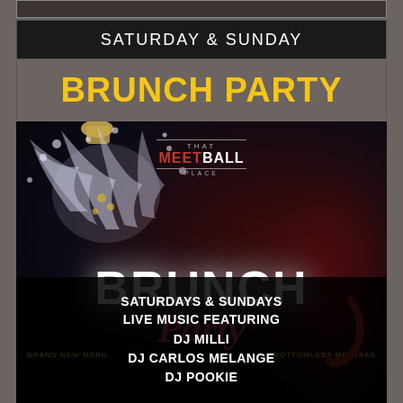SATURDAY & SUNDAY
BRUNCH PARTY
[Figure (photo): Brunch party event flyer for That Meetball Place featuring champagne splash imagery, large BRUNCH PARTY text, brand new menu and bottomless mimosas text, Saturday & Sundays live music featuring DJ Milli, DJ Carlos Melange, DJ Pookie]